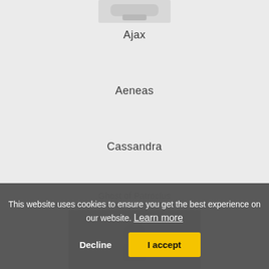[Figure (photo): Product image at top of page, partially cropped, light background]
Ajax
Aeneas
Cassandra
Ghost of Patroclus
[Figure (photo): Product or figure image at bottom, partially visible behind cookie overlay]
This website uses cookies to ensure you get the best experience on our website. Learn more
Decline
I accept